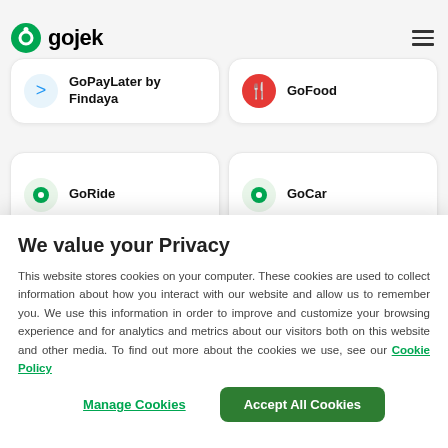[Figure (logo): Gojek logo with green circle icon and 'gojek' text in bold]
[Figure (screenshot): GoPayLater by Findaya service card with blue icon]
[Figure (screenshot): GoFood service card with red and white fork/spoon icon]
[Figure (screenshot): GoRide service card with green motorcycle icon (partially visible)]
[Figure (screenshot): GoCar service card with green car icon (partially visible)]
We value your Privacy
This website stores cookies on your computer. These cookies are used to collect information about how you interact with our website and allow us to remember you. We use this information in order to improve and customize your browsing experience and for analytics and metrics about our visitors both on this website and other media. To find out more about the cookies we use, see our Cookie Policy
Manage Cookies
Accept All Cookies